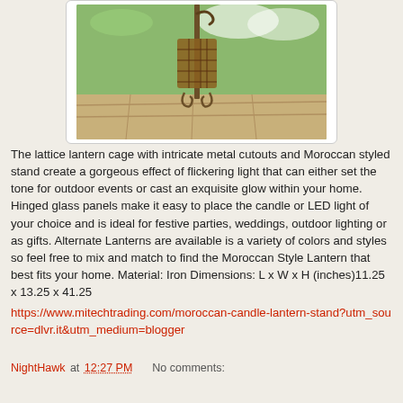[Figure (photo): A Moroccan-style iron candle lantern with lattice cage and decorative stand, photographed outdoors on a stone patio with green garden in the background.]
The lattice lantern cage with intricate metal cutouts and Moroccan styled stand create a gorgeous effect of flickering light that can either set the tone for outdoor events or cast an exquisite glow within your home. Hinged glass panels make it easy to place the candle or LED light of your choice and is ideal for festive parties, weddings, outdoor lighting or as gifts. Alternate Lanterns are available is a variety of colors and styles so feel free to mix and match to find the Moroccan Style Lantern that best fits your home. Material: Iron Dimensions: L x W x H (inches)11.25 x 13.25 x 41.25
https://www.mitechtrading.com/moroccan-candle-lantern-stand?utm_source=dlvr.it&utm_medium=blogger
NightHawk at 12:27 PM    No comments:
Share